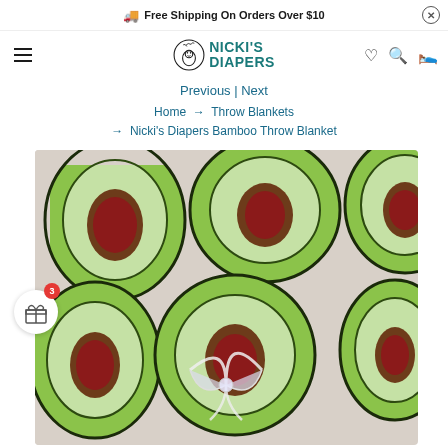Free Shipping On Orders Over $10
[Figure (logo): Nicki's Diapers logo — cartoon baby with text NICKI'S DIAPERS in teal]
Previous | Next
Home → Throw Blankets → Nicki's Diapers Bamboo Throw Blanket
[Figure (photo): A folded throw blanket with an avocado print pattern (green avocado halves with dark pits on light background), tied with a white ribbon bow]